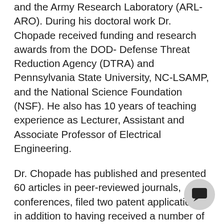and the Army Research Laboratory (ARL-ARO). During his doctoral work Dr. Chopade received funding and research awards from the DOD- Defense Threat Reduction Agency (DTRA) and Pennsylvania State University, NC-LSAMP, and the National Science Foundation (NSF). He also has 10 years of teaching experience as Lecturer, Assistant and Associate Professor of Electrical Engineering.
Dr. Chopade has published and presented 60 articles in peer-reviewed journals, conferences, filed two patent applications, in addition to having received a number of research grants and awards. Dr. Chopade serves as reviewer for several peer-reviewed journals from IEEE, Science Direct Elsevier, Springer, IET, IETE, SAGE-Part O, SAGE-track, InderScience and more. He is the former IEEE Division/Region-3 Secretary for Central North Carolina (CNC) section and IEEE Computer Society Chapter.